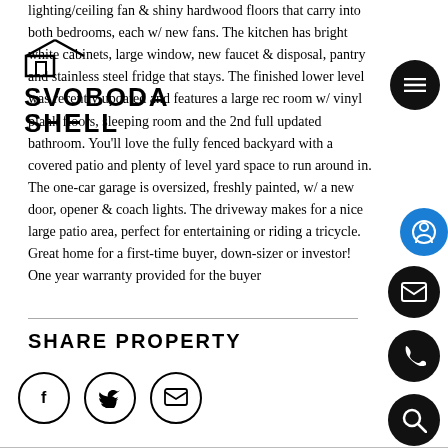lighting/ceiling fan & shiny hardwood floors that carry into both bedrooms, each w/ new fans. The kitchen has bright white cabinets, large window, new faucet & disposal, pantry and stainless steel fridge that stays. The finished lower level was recently updated and features a large rec room w/ vinyl plank floors, sleeping room and the 2nd full updated bathroom. You'll love the fully fenced backyard with a covered patio and plenty of level yard space to run around in. The one-car garage is oversized, freshly painted, w/ a new door, opener & coach lights. The driveway makes for a nice large patio area, perfect for entertaining or riding a tricycle. Great home for a first-time buyer, down-sizer or investor! One year warranty provided for the buyer
[Figure (logo): Svoboda Shell real estate logo with house icon outline]
SHARE PROPERTY
[Figure (infographic): Three social share buttons: Facebook (f), Twitter (bird), Email (envelope)]